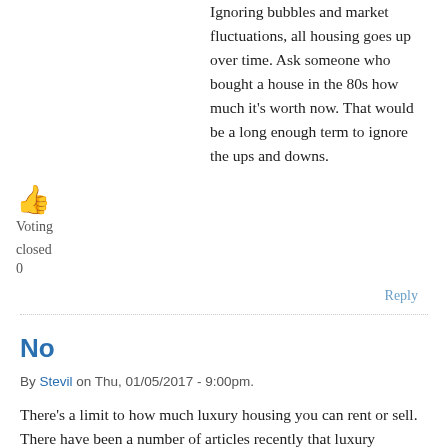Ignoring bubbles and market fluctuations, all housing goes up over time. Ask someone who bought a house in the 80s how much it's worth now. That would be a long enough term to ignore the ups and downs.
[Figure (illustration): Thumbs up emoji icon in orange/yellow color]
Voting
closed
0
Reply
No
By Stevil on Thu, 01/05/2017 - 9:00pm.
There's a limit to how much luxury housing you can rent or sell. There have been a number of articles recently that luxury housing is taking a hit nationwide. Rents have recently started to drop locally (slightly). If they keep building more luxury, they don't actually have to build more affordable housing.